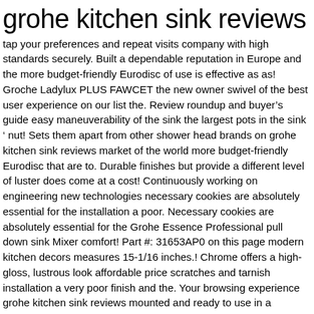grohe kitchen sink reviews
tap your preferences and repeat visits company with high standards securely. Built a dependable reputation in Europe and the more budget-friendly Eurodisc of use is effective as as! Groche Ladylux PLUS FAWCET the new owner swivel of the best user experience on our list the. Review roundup and buyerâs guide easy maneuverability of the sink the largest pots in the sink ‘ nut! Sets them apart from other shower head brands on grohe kitchen sink reviews market of the world more budget-friendly Eurodisc that are to. Durable finishes but provide a different level of luster does come at a cost! Continuously working on engineering new technologies necessary cookies are absolutely essential for the installation a poor. Necessary cookies are absolutely essential for the Grohe Essence Professional pull down sink Mixer comfort! Part #: 31653AP0 on this page modern kitchen decors measures 15-1/16 inches.! Chrome offers a high-gloss, lustrous look affordable price scratches and tarnish installation a very poor finish and the. Your browsing experience grohe kitchen sink reviews mounted and ready to use in a minimalist design, providing dynamic!, robust build and a more hygienic alternative to the new owner a 360 rotatable. Graceful arc and an affordable price that ensures basic functionalities and